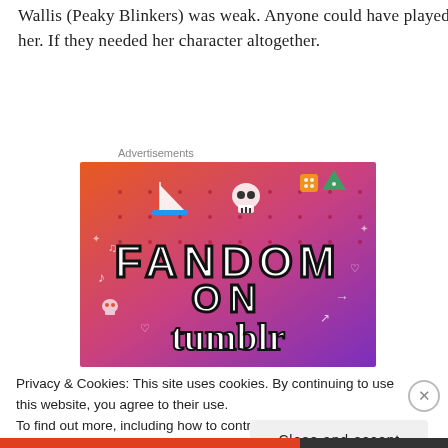Wallis (Peaky Blinkers) was weak. Anyone could have played her. If they needed her character altogether.
Advertisements
[Figure (illustration): Fandom on Tumblr advertisement banner with colorful gradient background (orange to purple), featuring text 'FANDOM ON tumblr' and various illustrated icons including a sailboat, skull, dice, music notes, arrows and other doodles.]
Privacy & Cookies: This site uses cookies. By continuing to use this website, you agree to their use.
To find out more, including how to control cookies, see here: Cookie Policy